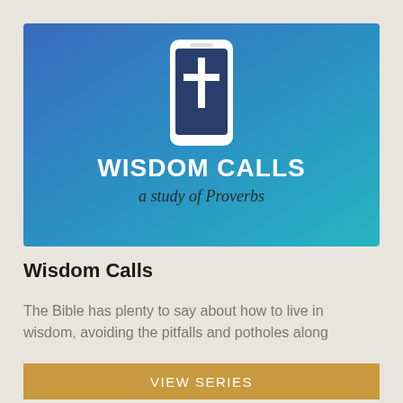[Figure (illustration): Banner image with blue-to-teal gradient background. Center shows a white smartphone outline with a dark navy screen containing a white cross. Below the phone: 'WISDOM CALLS' in large white bold text, and beneath it 'a study of Proverbs' in dark cursive/script text.]
Wisdom Calls
The Bible has plenty to say about how to live in wisdom, avoiding the pitfalls and potholes along
VIEW SERIES